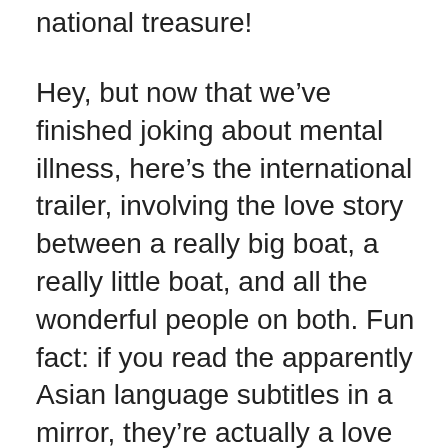national treasure!
Hey, but now that we've finished joking about mental illness, here's the international trailer, involving the love story between a really big boat, a really little boat, and all the wonderful people on both. Fun fact: if you read the apparently Asian language subtitles in a mirror, they're actually a love letter from Paul Greengrass to Matt Damon written in ancient